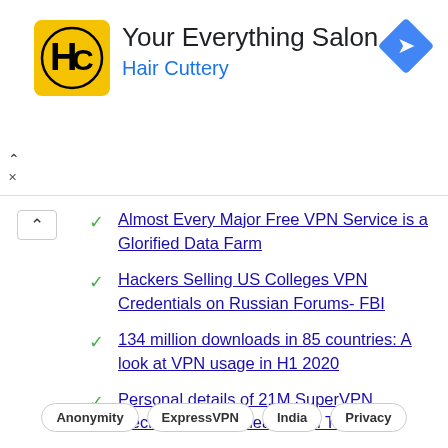[Figure (logo): Hair Cuttery advertisement banner with HC logo, title 'Your Everything Salon', subtitle 'Hair Cuttery', and a blue navigation diamond icon]
Almost Every Major Free VPN Service is a Glorified Data Farm
Hackers Selling US Colleges VPN Credentials on Russian Forums- FBI
134 million downloads in 85 countries: A look at VPN usage in H1 2020
Personal details of 21M SuperVPN, GeckoVPN users leaked on Telegram
Anonymity  ExpressVPN  India  Privacy